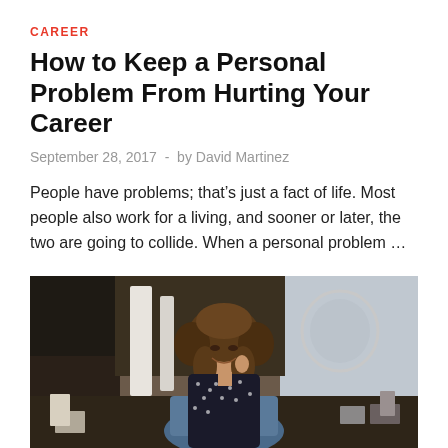CAREER
How to Keep a Personal Problem From Hurting Your Career
September 28, 2017  -  by David Martinez
People have problems; that’s just a fact of life. Most people also work for a living, and sooner or later, the two are going to collide. When a personal problem …
READ MORE
[Figure (photo): A smiling woman with curly hair sitting at a desk, wearing a dark polka dot blouse, talking on a phone in an office setting]